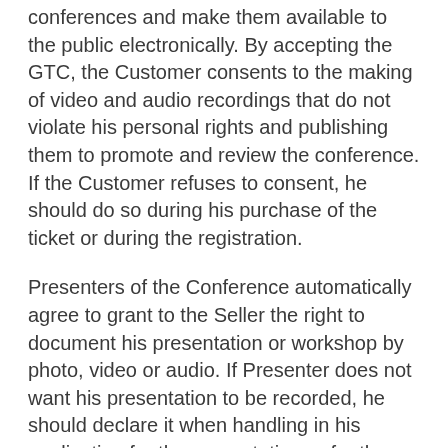conferences and make them available to the public electronically. By accepting the GTC, the Customer consents to the making of video and audio recordings that do not violate his personal rights and publishing them to promote and review the conference. If the Customer refuses to consent, he should do so during his purchase of the ticket or during the registration.
Presenters of the Conference automatically agree to grant to the Seller the right to document his presentation or workshop by photo, video or audio. If Presenter does not want his presentation to be recorded, he should declare it when handling in his application for the presentation or for the workshop. By applying for presentations or workshops the Presenter grants to the Seller the right to share and distribute any of the texts, photo or video images or slides used by him during the Conference.
The integraleuropeanconference.com website is operated and maintained by the Seller. The website is